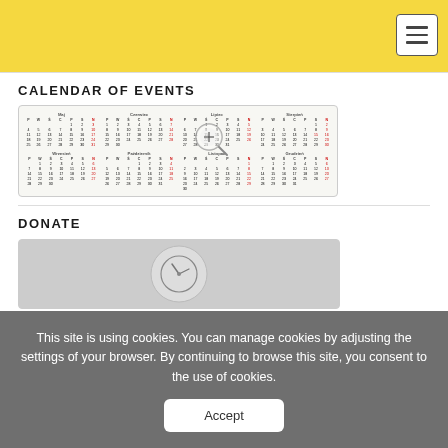CALENDAR OF EVENTS
[Figure (other): A yearly calendar widget showing months Maj, Czerwiec, Lipiec, Sierpień, Wrzesień, Październik, Listopad, Grudzień with small mini-calendar grids and a magnifier search icon overlay]
DONATE
[Figure (illustration): A donate section image showing a gray background with a circular illustration of hands]
This site is using cookies. You can manage cookies by adjusting the settings of your browser. By continuing to browse this site, you consent to the use of cookies.
Accept